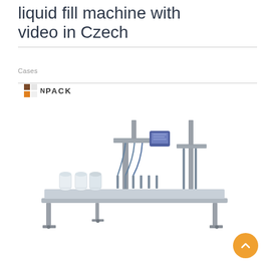liquid fill machine with video in Czech
Cases
[Figure (logo): NNPack logo with orange and brown square grid and bold PACK text]
[Figure (photo): Industrial liquid filling machine, stainless steel, multi-head, conveyor belt, with control panel screen, photographed on white background]